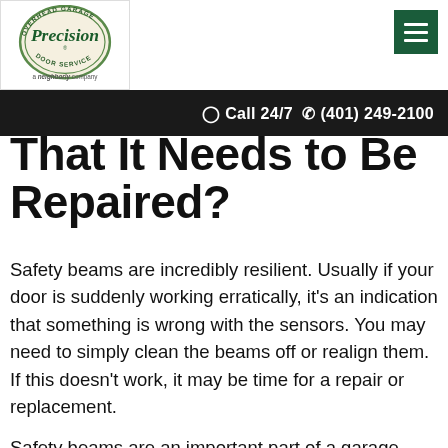Precision Overhead Garage Door Service — a neighborly company
☎ Call 24/7 ☎ (401) 249-2100
That It Needs to Be Repaired?
Safety beams are incredibly resilient. Usually if your door is suddenly working erratically, it's an indication that something is wrong with the sensors. You may need to simply clean the beams off or realign them. If this doesn't work, it may be time for a repair or replacement.
Safety beams are an important part of a garage door. The best thing you can do is